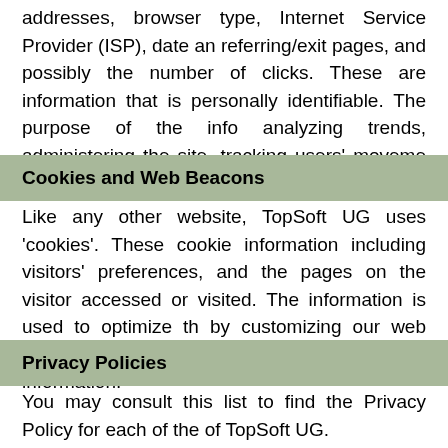addresses, browser type, Internet Service Provider (ISP), date and referring/exit pages, and possibly the number of clicks. These are information that is personally identifiable. The purpose of the info analyzing trends, administering the site, tracking users' movement gathering demographic information.
Cookies and Web Beacons
Like any other website, TopSoft UG uses 'cookies'. These cookies information including visitors' preferences, and the pages on the visitor accessed or visited. The information is used to optimize th by customizing our web page content based on visitors' browser information.
Privacy Policies
You may consult this list to find the Privacy Policy for each of the of TopSoft UG.
Third-party ad servers or ad networks uses technologies like coo Web Beacons that are used in their respective advertisements a